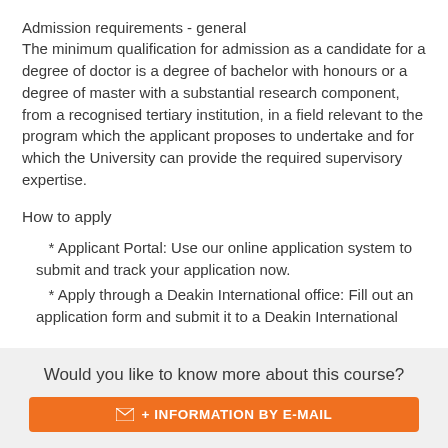Admission requirements - general
The minimum qualification for admission as a candidate for a degree of doctor is a degree of bachelor with honours or a degree of master with a substantial research component, from a recognised tertiary institution, in a field relevant to the program which the applicant proposes to undertake and for which the University can provide the required supervisory expertise.
How to apply
* Applicant Portal: Use our online application system to submit and track your application now.
* Apply through a Deakin International office: Fill out an application form and submit it to a Deakin International
Would you like to know more about this course?
+ INFORMATION BY E-MAIL